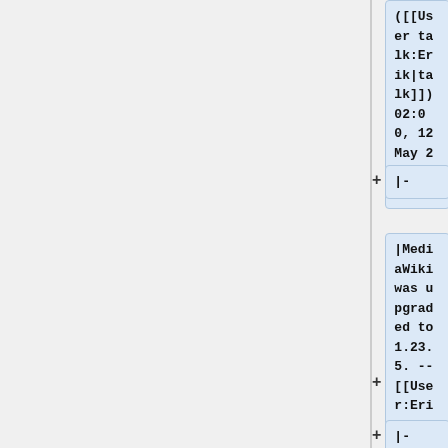([[User talk:Erik|talk]]) 02:00, 12 May 2017 (UTC)
|-
|MediaWiki was upgraded to 1.23.5. -- [[User:Erik|Erik]] ([[User talk:Erik|talk]]) 19:34, 26 October 2014 (EDT)
|-